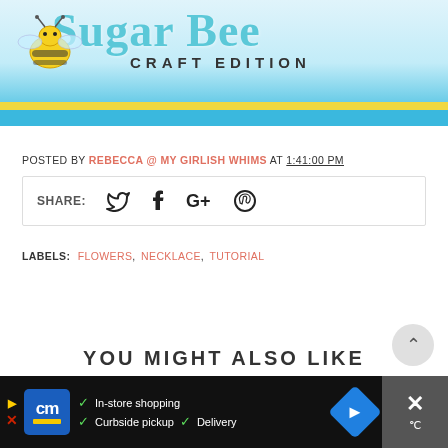[Figure (logo): Sugar Bee Craft Edition blog header banner with bee illustration, teal/blue text, yellow and blue stripes]
POSTED BY REBECCA @ MY GIRLISH WHIMS AT 1:41:00 PM
SHARE: (Twitter, Facebook, Google+, Pinterest icons)
LABELS: FLOWERS, NECKLACE, TUTORIAL
YOU MIGHT ALSO LIKE
[Figure (screenshot): Advertisement bar: cm (Cardenas Markets) - In-store shopping, Curbside pickup, Delivery]